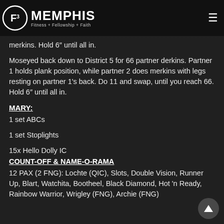F3 MEMPHIS — Fitness + Fellowship + Faith
merkins. Hold 6" until all in.
Moseyed back down to District 5 for 66 partner derkins. Partner 1 holds plank position, while partner 2 does merkins with legs resting on partner 1's back. Do 11 and swap, until you reach 66. Hold 6" until all in.
MARY:
1 set ABCs
1 set Stoplights
15x Hello Dolly IC
COUNT-OFF & NAME-O-RAMA
12 PAX (2 FNG): Lochte (QIC), Slots, Double Vision, Runner Up, Blart, Watchita, Bootheel, Black Diamond, Hot 'n Ready, Rainbow Warrior, Wrigley (FNG), Archie (FNG)